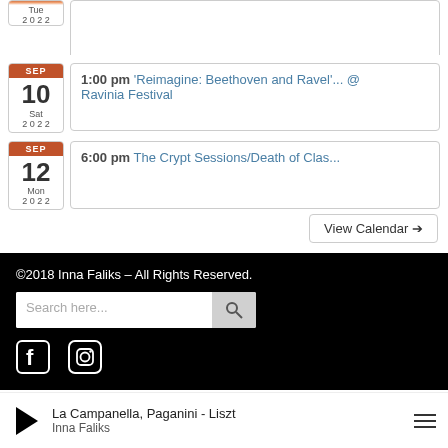Tue 2022 - (partial event entry at top)
SEP 10 Sat 2022 - 1:00 pm 'Reimagine: Beethoven and Ravel'... @ Ravinia Festival
SEP 12 Mon 2022 - 6:00 pm The Crypt Sessions/Death of Clas...
View Calendar →
©2018 Inna Faliks – All Rights Reserved.
Search here...
La Campanella, Paganini - Liszt
Inna Faliks